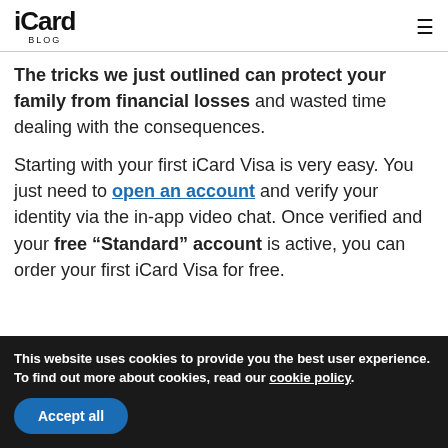iCard BLOG
The tricks we just outlined can protect your family from financial losses and wasted time dealing with the consequences.

Starting with your first iCard Visa is very easy. You just need to open an account and verify your identity via the in-app video chat. Once verified and your free “Standard” account is active, you can order your first iCard Visa for free.
This website uses cookies to provide you the best user experience. To find out more about cookies, read our cookie policy.
Accept all